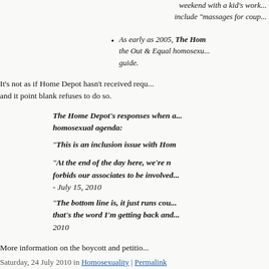weekend with a kid's workshop... include "massages for coup
As early as 2005, The Home Depot sponsored the Out & Equal homosexual... guide.
It's not as if Home Depot hasn't received requests... and it point blank refuses to do so.
The Home Depot's responses when asked about the homosexual agenda:
"This is an inclusion issue with Ho...
"At the end of the day here, we're n... forbids our associates to be involved... - July 15, 2010
"The bottom line is, it just runs cou... that's the word I'm getting back and... 2010
More information on the boycott and petition...
Saturday, 24 July 2010 in Homosexuality | Permalink